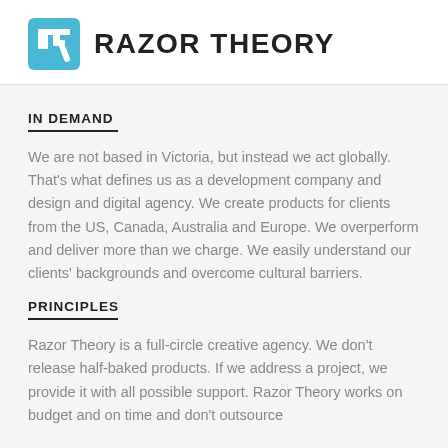[Figure (logo): Razor Theory logo: a blue square with white 'TR' monogram lettermark, followed by bold uppercase text 'RAZOR THEORY']
IN DEMAND
We are not based in Victoria, but instead we act globally. That’s what defines us as a development company and design and digital agency. We create products for clients from the US, Canada, Australia and Europe. We overperform and deliver more than we charge. We easily understand our clients’ backgrounds and overcome cultural barriers.
PRINCIPLES
Razor Theory is a full-circle creative agency. We don’t release half-baked products. If we address a project, we provide it with all possible support. Razor Theory works on budget and on time and don’t outsource